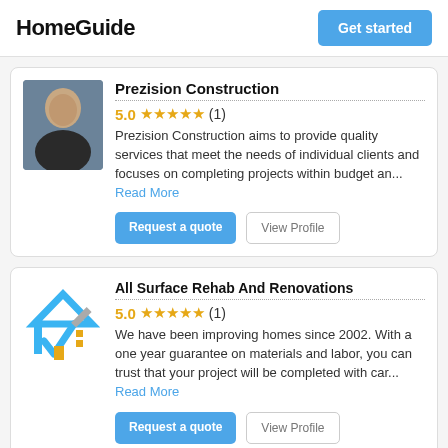HomeGuide | Get started
Prezision Construction
5.0 ★★★★★ (1)
Prezision Construction aims to provide quality services that meet the needs of individual clients and focuses on completing projects within budget an... Read More
Request a quote | View Profile
All Surface Rehab And Renovations
5.0 ★★★★★ (1)
We have been improving homes since 2002. With a one year guarantee on materials and labor, you can trust that your project will be completed with car... Read More